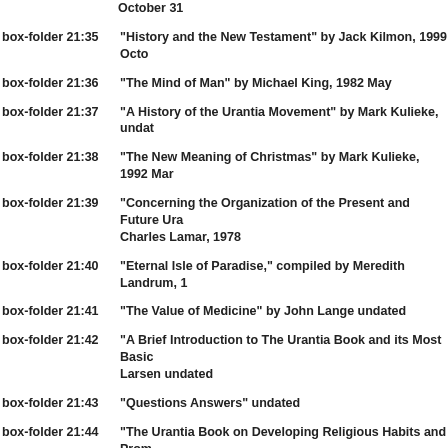October 31
box-folder 21:35 "History and the New Testament" by Jack Kilmon, 1999 October 31
box-folder 21:36 "The Mind of Man" by Michael King, 1982 May
box-folder 21:37 "A History of the Urantia Movement" by Mark Kulieke, undated
box-folder 21:38 "The New Meaning of Christmas" by Mark Kulieke, 1992 Mar
box-folder 21:39 "Concerning the Organization of the Present and Future Urantia... Charles Lamar, 1978
box-folder 21:40 "Eternal Isle of Paradise," compiled by Meredith Landrum, 1...
box-folder 21:41 "The Value of Medicine" by John Lange undated
box-folder 21:42 "A Brief Introduction to The Urantia Book and its Most Basic... Larsen undated
box-folder 21:43 "Questions Answers" undated
box-folder 21:44 "The Urantia Book on Developing Religious Habits and Promoting Growth," edited by Steve Law, undated